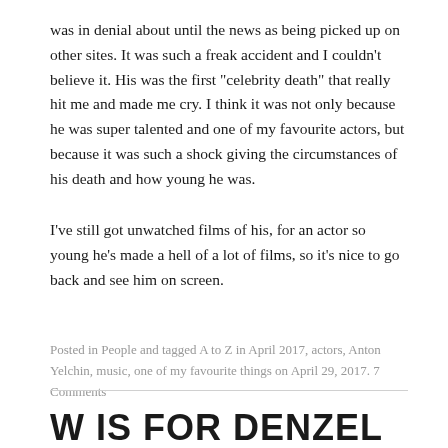was in denial about until the news as being picked up on other sites. It was such a freak accident and I couldn't believe it. His was the first "celebrity death" that really hit me and made me cry. I think it was not only because he was super talented and one of my favourite actors, but because it was such a shock giving the circumstances of his death and how young he was.
I've still got unwatched films of his, for an actor so young he's made a hell of a lot of films, so it's nice to go back and see him on screen.
Posted in People and tagged A to Z in April 2017, actors, Anton Yelchin, music, one of my favourite things on April 29, 2017. 7 Comments
W IS FOR DENZEL